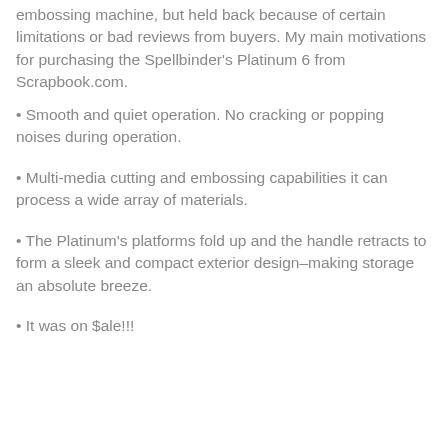embossing machine, but held back because of certain limitations or bad reviews from buyers. My main motivations for purchasing the Spellbinder's Platinum 6 from Scrapbook.com.
• Smooth and quiet operation. No cracking or popping noises during operation.
• Multi-media cutting and embossing capabilities it can process a wide array of materials.
• The Platinum's platforms fold up and the handle retracts to form a sleek and compact exterior design–making storage an absolute breeze.
• It was on $ale!!!